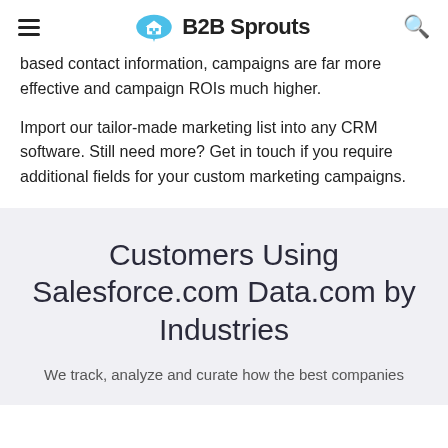B2B Sprouts
based contact information, campaigns are far more effective and campaign ROIs much higher.
Import our tailor-made marketing list into any CRM software. Still need more? Get in touch if you require additional fields for your custom marketing campaigns.
Customers Using Salesforce.com Data.com by Industries
We track, analyze and curate how the best companies